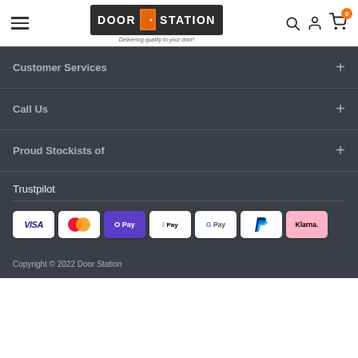[Figure (logo): Door Station logo with orange door icon and tagline 'Delivering quality to your door!']
Customer Services
Call Us
Proud Stockists of
Trustpilot
[Figure (other): Payment method icons: Visa, Mastercard, O Pay, Apple Pay, Google Pay, PayPal, Klarna]
Copyright © 2022 Door Station